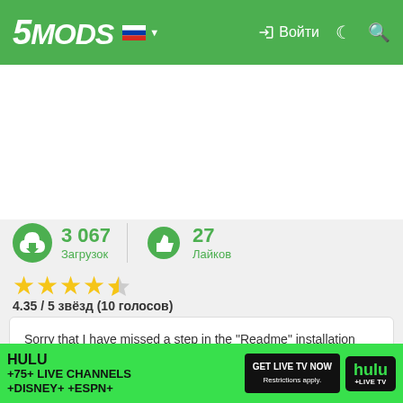5MODS | Войти
3 067 Загрузок  27 Лайков
4.35 / 5 звёзд (10 голосов)
Sorry that I have missed a step in the "Readme" installation guide, for those of you who cannot load the torso properly, please check this out, thanks.

Play as The Flash in the DC extended universe, who has appeared in the Suicide Squad for a few seconds, Batman V superm...
[Figure (other): Hulu advertisement banner: HULU +75+ LIVE CHANNELS +DISNEY+ +ESPN+ GET LIVE TV NOW hulu +LIVE TV]